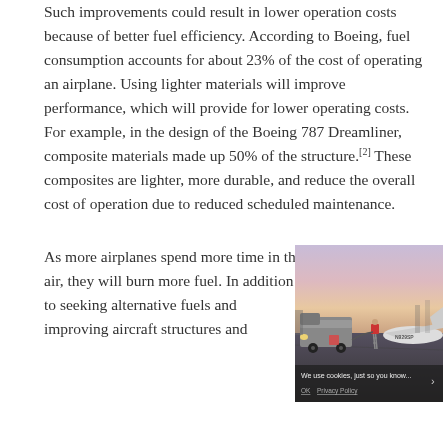Such improvements could result in lower operation costs because of better fuel efficiency. According to Boeing, fuel consumption accounts for about 23% of the cost of operating an airplane. Using lighter materials will improve performance, which will provide for lower operating costs. For example, in the design of the Boeing 787 Dreamliner, composite materials made up 50% of the structure.[2] These composites are lighter, more durable, and reduce the overall cost of operation due to reduced scheduled maintenance.
As more airplanes spend more time in the air, they will burn more fuel. In addition to seeking alternative fuels and improving aircraft structures and
[Figure (photo): A photograph taken at dusk showing a small aircraft (tail number N929SP) being refueled by a fuel truck on an airport tarmac. A person in a red shirt is standing on a ladder next to the aircraft. The sky has a pink/purple hue. A cookie consent overlay appears at the bottom of the image.]